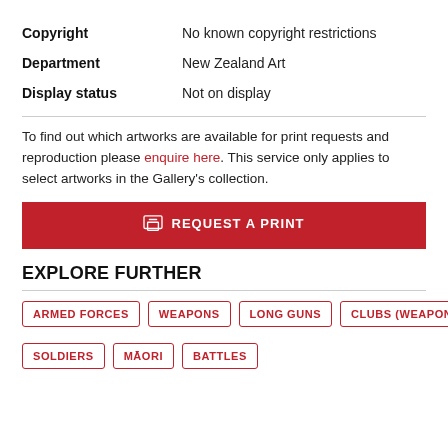| Copyright | No known copyright restrictions |
| Department | New Zealand Art |
| Display status | Not on display |
To find out which artworks are available for print requests and reproduction please enquire here. This service only applies to select artworks in the Gallery's collection.
[Figure (other): Red button: REQUEST A PRINT]
EXPLORE FURTHER
ARMED FORCES
WEAPONS
LONG GUNS
CLUBS (WEAPONS)
SOLDIERS
MĀORI
BATTLES